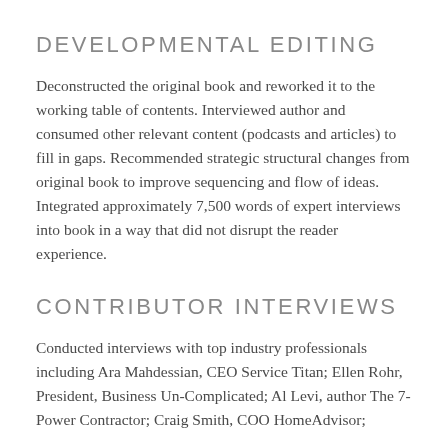DEVELOPMENTAL EDITING
Deconstructed the original book and reworked it to the working table of contents. Interviewed author and consumed other relevant content (podcasts and articles) to fill in gaps. Recommended strategic structural changes from original book to improve sequencing and flow of ideas. Integrated approximately 7,500 words of expert interviews into book in a way that did not disrupt the reader experience.
CONTRIBUTOR INTERVIEWS
Conducted interviews with top industry professionals including Ara Mahdessian, CEO Service Titan; Ellen Rohr, President, Business Un-Complicated; Al Levi, author The 7-Power Contractor; Craig Smith, COO HomeAdvisor;